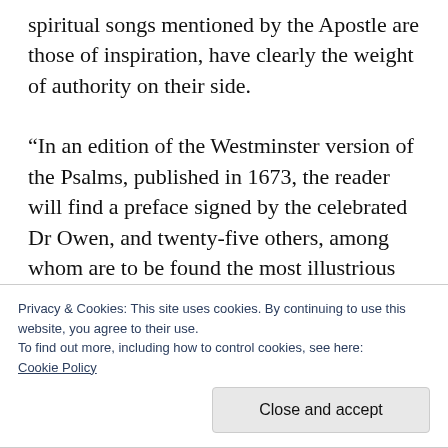spiritual songs mentioned by the Apostle are those of inspiration, have clearly the weight of authority on their side.

“In an edition of the Westminster version of the Psalms, published in 1673, the reader will find a preface signed by the celebrated Dr Owen, and twenty-five others, among whom are to be found the most illustrious divines that have ever adorned the church. Their testimony on the point before us is given in the following
Privacy & Cookies: This site uses cookies. By continuing to use this website, you agree to their use.
To find out more, including how to control cookies, see here: Cookie Policy
Close and accept